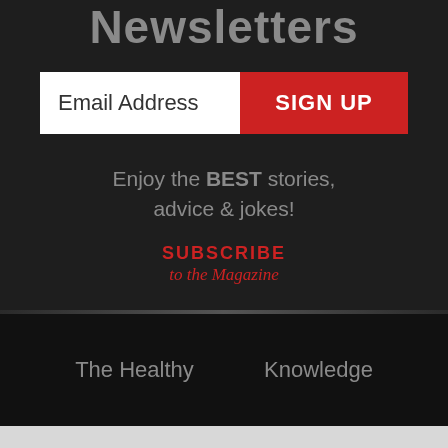Newsletters
Email Address
SIGN UP
Enjoy the BEST stories, advice & jokes!
SUBSCRIBE to the Magazine
The Healthy
Knowledge
ADVERTISEMENT